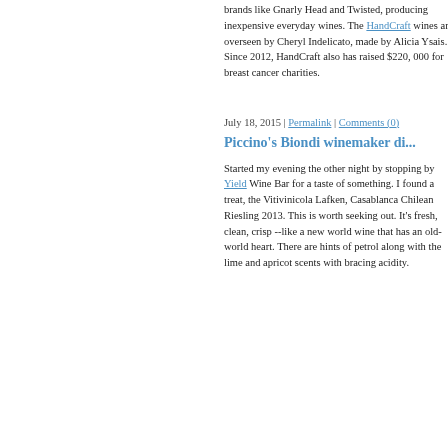brands like Gnarly Head and Twisted, producing inexpensive everyday wines. The HandCraft wines are overseen by Cheryl Indelicato, made by Alicia Ysais. Since 2012, HandCraft also has raised $220, 000 for breast cancer charities.
July 18, 2015 | Permalink | Comments (0)
Piccino's Biondi winemaker di...
Started my evening the other night by stopping by Yield Wine Bar for a taste of something. I found a treat, the Vitivinicola Lafken, Casablanca Chilean Riesling 2013. This is worth seeking out. It's fresh, clean, crisp --like a new world wine that has an old-world heart. There are hints of petrol along with the lime and apricot scents with bracing acidity.